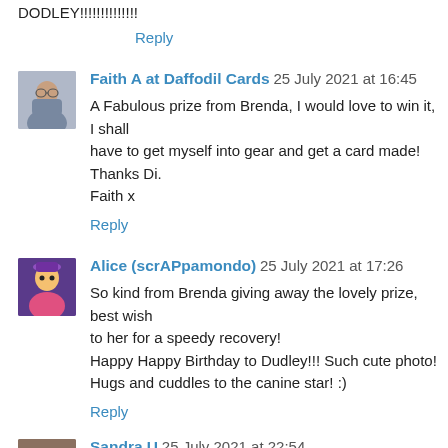DODLEY!!!!!!!!!!!!!!
Reply
Faith A at Daffodil Cards 25 July 2021 at 16:45
A Fabulous prize from Brenda, I would love to win it, I shall have to get myself into gear and get a card made!
Thanks Di.
Faith x
Reply
Alice (scrAPpamondo) 25 July 2021 at 17:26
So kind from Brenda giving away the lovely prize, best wish to her for a speedy recovery!
Happy Happy Birthday to Dudley!!! Such cute photo!
Hugs and cuddles to the canine star! :)
Reply
Sandra U 25 July 2021 at 22:54